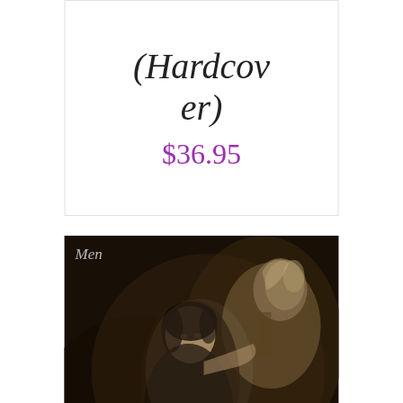(Hardcover)
$36.95
[Figure (illustration): Book cover of 'Catherine's Men, A Historical Biography' featuring a vintage sepia photograph of a woman with a horse. The cover shows text 'Men' at the top left and 'A Historical Biography by' in script at the lower right.]
Catherine's Men, A Historical Biography